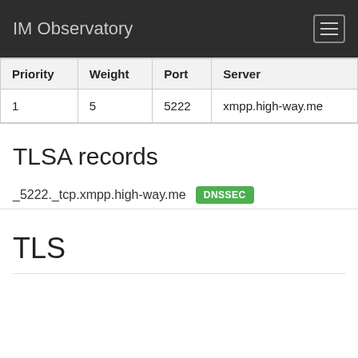IM Observatory
| Priority | Weight | Port | Server |
| --- | --- | --- | --- |
| 1 | 5 | 5222 | xmpp.high-way.me |
TLSA records
_5222._tcp.xmpp.high-way.me DNSSEC
TLS